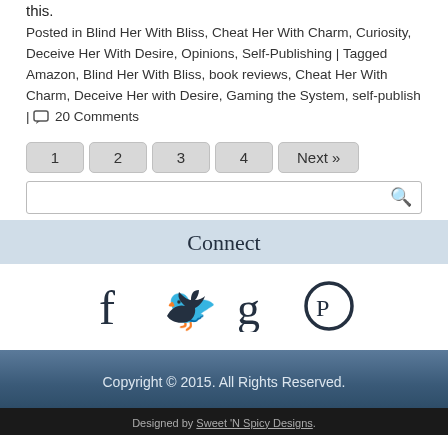this.
Posted in Blind Her With Bliss, Cheat Her With Charm, Curiosity, Deceive Her With Desire, Opinions, Self-Publishing | Tagged Amazon, Blind Her With Bliss, book reviews, Cheat Her With Charm, Deceive Her with Desire, Gaming the System, self-publish | 20 Comments
1
2
3
4
Next »
Connect
[Figure (infographic): Social media icons: Facebook, Twitter, Goodreads, Pinterest]
Copyright © 2015. All Rights Reserved.
Designed by Sweet 'N Spicy Designs.